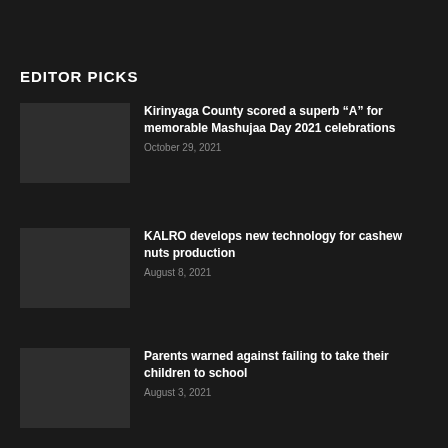EDITOR PICKS
Kirinyaga County scored a superb “A” for memorable Mashujaa Day 2021 celebrations
October 29, 2021
KALRO develops new technology for cashew nuts production
August 8, 2021
Parents warned against failing to take their children to school
August 3, 2021